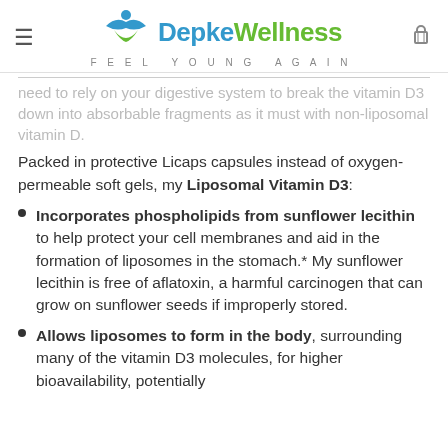Depke Wellness FEEL YOUNG AGAIN
need to rely on your digestive system to break the vitamin D3 down into absorbable fragments as it must with non-liposomal vitamin D.
Packed in protective Licaps capsules instead of oxygen-permeable soft gels, my Liposomal Vitamin D3:
Incorporates phospholipids from sunflower lecithin to help protect your cell membranes and aid in the formation of liposomes in the stomach.* My sunflower lecithin is free of aflatoxin, a harmful carcinogen that can grow on sunflower seeds if improperly stored.
Allows liposomes to form in the body, surrounding many of the vitamin D3 molecules, for higher bioavailability, potentially